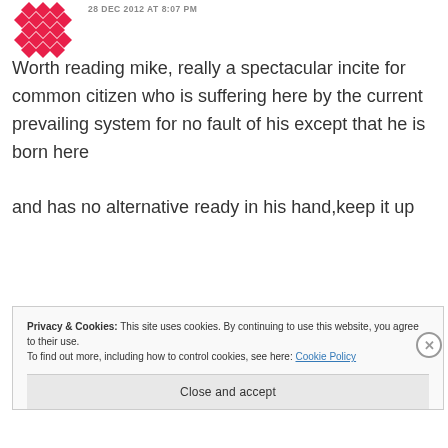[Figure (logo): Red diamond/cross pattern avatar icon]
28 DEC 2012 AT 8:07 PM
Worth reading mike, really a spectacular incite for common citizen who is suffering here by the current prevailing system for no fault of his except that he is born here

and has no alternative ready in his hand,keep it up
Privacy & Cookies: This site uses cookies. By continuing to use this website, you agree to their use.
To find out more, including how to control cookies, see here: Cookie Policy
Close and accept